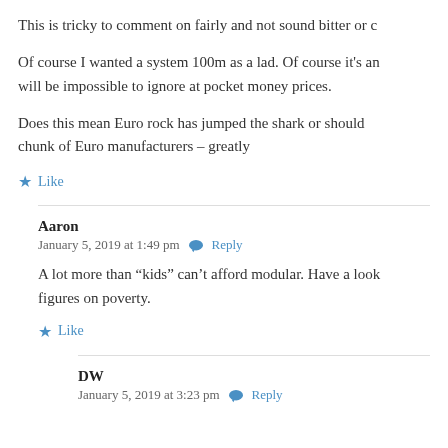This is tricky to comment on fairly and not sound bitter or c
Of course I wanted a system 100m as a lad. Of course it’s an will be impossible to ignore at pocket money prices.
Does this mean Euro rock has jumped the shark or should chunk of Euro manufacturers – greatly
★ Like
Aaron
January 5, 2019 at 1:49 pm 💬 Reply
A lot more than “kids” can’t afford modular. Have a look figures on poverty.
★ Like
DW
January 5, 2019 at 3:23 pm 💬 Reply